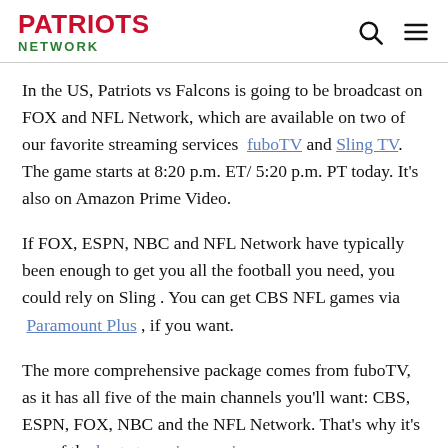PATRIOTS NETWORK
In the US, Patriots vs Falcons is going to be broadcast on FOX and NFL Network, which are available on two of our favorite streaming services fuboTV and Sling TV. The game starts at 8:20 p.m. ET/ 5:20 p.m. PT today. It's also on Amazon Prime Video.
If FOX, ESPN, NBC and NFL Network have typically been enough to get you all the football you need, you could rely on Sling. You can get CBS NFL games via Paramount Plus, if you want.
The more comprehensive package comes from fuboTV, as it has all five of the main channels you'll want: CBS, ESPN, FOX, NBC and the NFL Network. That's why it's one of the best streaming services.